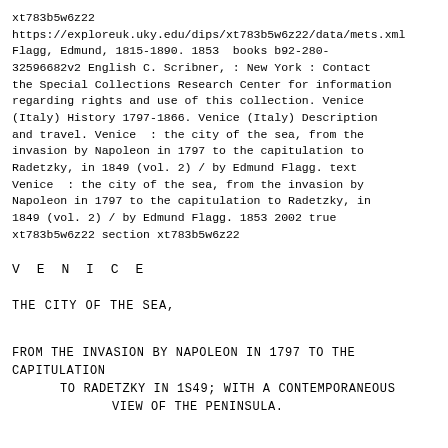xt783b5w6z22
https://exploreuk.uky.edu/dips/xt783b5w6z22/data/mets.xml
Flagg, Edmund, 1815-1890. 1853  books b92-280-32596682v2 English C. Scribner, : New York : Contact the Special Collections Research Center for information regarding rights and use of this collection. Venice (Italy) History 1797-1866. Venice (Italy) Description and travel. Venice  : the city of the sea, from the invasion by Napoleon in 1797 to the capitulation to Radetzky, in 1849 (vol. 2) / by Edmund Flagg. text Venice  : the city of the sea, from the invasion by Napoleon in 1797 to the capitulation to Radetzky, in 1849 (vol. 2) / by Edmund Flagg. 1853 2002 true xt783b5w6z22 section xt783b5w6z22
V E N I C E
THE CITY OF THE SEA,
FROM THE INVASION BY NAPOLEON IN 1797 TO THE CAPITULATION
      TO RADETZKY IN 1S49; WITH A CONTEMPORANEOUS
               VIEW OF THE PENINSULA.